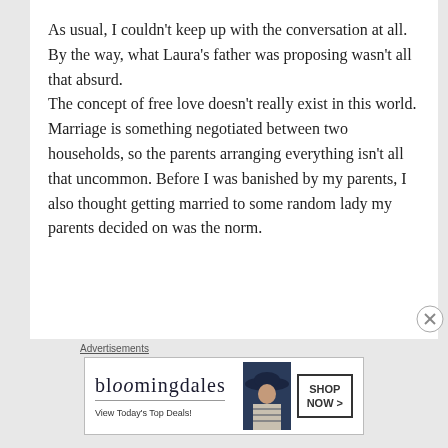As usual, I couldn’t keep up with the conversation at all.
By the way, what Laura’s father was proposing wasn’t all that absurd.
The concept of free love doesn’t really exist in this world. Marriage is something negotiated between two households, so the parents arranging everything isn’t all that uncommon. Before I was banished by my parents, I also thought getting married to some random lady my parents decided on was the norm.
[Figure (infographic): Bloomingdale's advertisement banner with logo, tagline 'View Today’s Top Deals!', image of woman in hat, and 'SHOP NOW >' button]